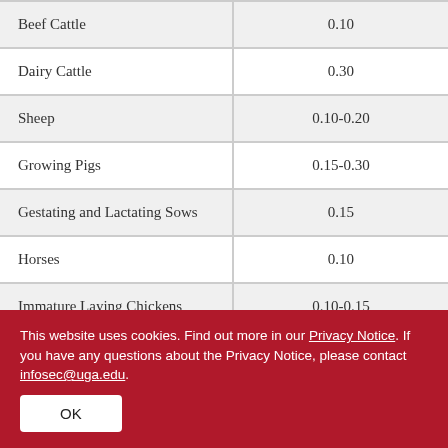| Beef Cattle | 0.10 |
| Dairy Cattle | 0.30 |
| Sheep | 0.10-0.20 |
| Growing Pigs | 0.15-0.30 |
| Gestating and Lactating Sows | 0.15 |
| Horses | 0.10 |
| Immature Laying Chickens | 0.10-0.15 |
This website uses cookies. Find out more in our Privacy Notice. If you have any questions about the Privacy Notice, please contact infosec@uga.edu.